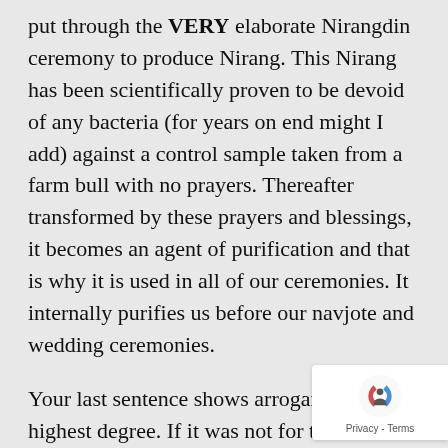put through the VERY elaborate Nirangdin ceremony to produce Nirang. This Nirang has been scientifically proven to be devoid of any bacteria (for years on end might I add) against a control sample taken from a farm bull with no prayers. Thereafter transformed by these prayers and blessings, it becomes an agent of purification and that is why it is used in all of our ceremonies. It internally purifies us before our navjote and wedding ceremonies.
Your last sentence shows arrogance of the highest degree. If it was not for the conservative doctrine, fervently preserving the shreds that remain of our religion, we would have nothing left.